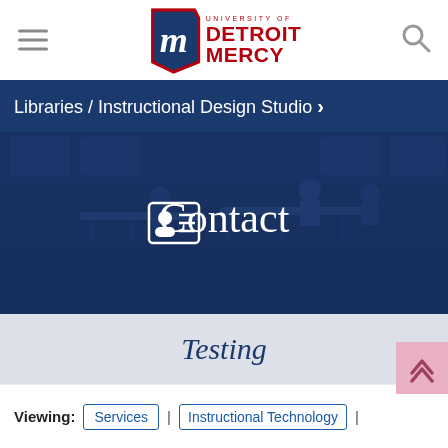University of Detroit Mercy
Libraries / Instructional Design Studio ›
[Figure (photo): Hero image showing a library or instructional design studio with students at tables, overlaid with a dark blue tint. Centered text reads 'Contact' with a contact card icon.]
Testing
Viewing: Services | Instructional Technology |